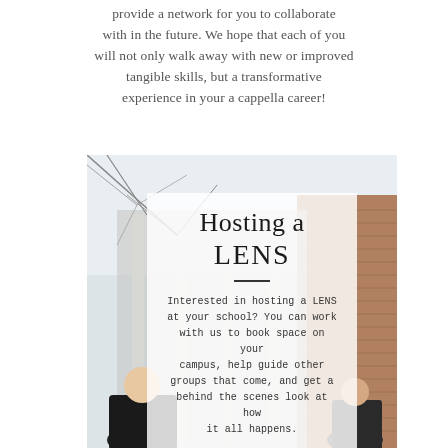provide a network for you to collaborate with in the future. We hope that each of you will not only walk away with new or improved tangible skills, but a transformative experience in your a cappella career!
[Figure (photo): Outdoor photo showing a brick building and bare tree branches; overlaid with a semi-transparent white box containing the title 'Hosting a LENS' and descriptive body text about hosting a LENS event at your school.]
Hosting a LENS
Interested in hosting a LENS at your school? You can work with us to book space on your campus, help guide other groups that come, and get a behind the scenes look at how it all happens.